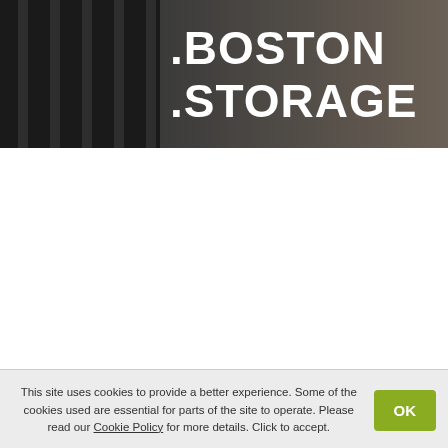[Figure (photo): Dark server rack image with white bold text '.BOSTON .STORAGE' overlaid on a gradient background]
+44 (0) 20 4571 1971
support@europeid.com
Live Assistance
This site uses cookies to provide a better experience. Some of the cookies used are essential for parts of the site to operate. Please read our Cookie Policy for more details. Click to accept.